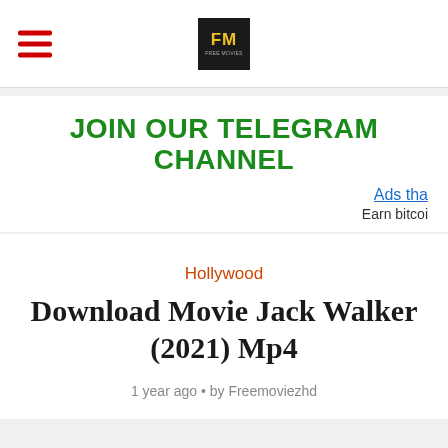[Figure (logo): FM Free Movies logo in a black box with yellow FM text]
JOIN OUR TELEGRAM CHANNEL
Ads tha
Earn bitcoi
Hollywood
Download Movie Jack Walker (2021) Mp4
1 year ago • by Freemoviezhd